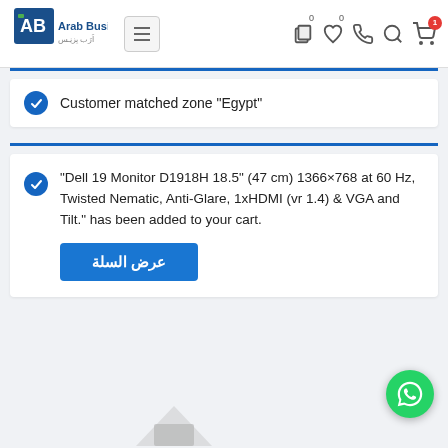[Figure (logo): Arab Business logo with Arabic text below]
Customer matched zone "Egypt"
"Dell 19 Monitor D1918H 18.5" (47 cm) 1366×768 at 60 Hz, Twisted Nematic, Anti-Glare, 1xHDMI (vr 1.4) & VGA and Tilt." has been added to your cart.
عرض السلة
[Figure (illustration): WhatsApp floating button (green circle with phone icon)]